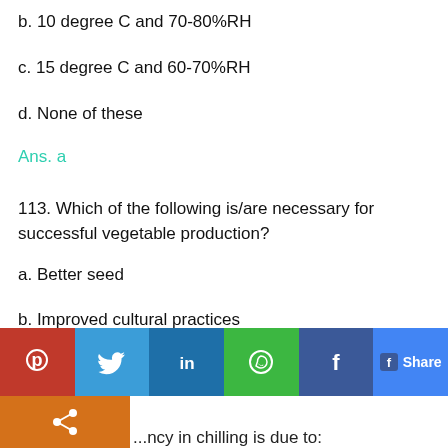b. 10 degree C and 70-80%RH
c. 15 degree C and 60-70%RH
d. None of these
Ans. a
113. Which of the following is/are necessary for successful vegetable production?
a. Better seed
b. Improved cultural practices
c. Better plant protection
d. All of these